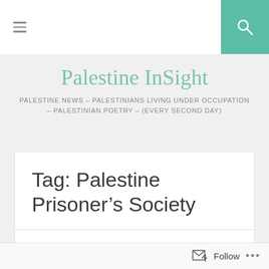≡  [search icon]
Palestine InSight
PALESTINE NEWS – PALESTINIANS LIVING UNDER OCCUPATION – PALESTINIAN POETRY – (EVERY SECOND DAY)
Tag: Palestine Prisoner's Society
“The messengers of peace here weep for the bitterness and the
Follow ...